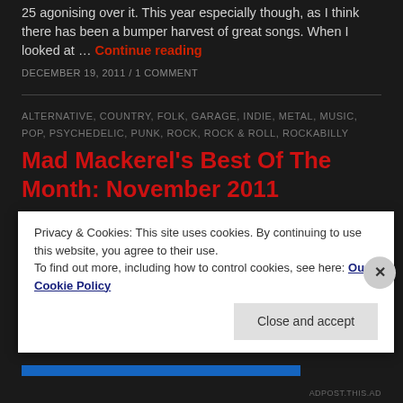25 agonising over it. This year especially though, as I think there has been a bumper harvest of great songs. When I looked at … Continue reading
DECEMBER 19, 2011 / 1 COMMENT
ALTERNATIVE, COUNTRY, FOLK, GARAGE, INDIE, METAL, MUSIC, POP, PSYCHEDELIC, PUNK, ROCK, ROCK & ROLL, ROCKABILLY
Mad Mackerel's Best Of The Month: November 2011
Despite the end of the year fast approaching, thankfully the quality of music has shown no signs of slowing down…
Privacy & Cookies: This site uses cookies. By continuing to use this website, you agree to their use.
To find out more, including how to control cookies, see here: Our Cookie Policy
Close and accept